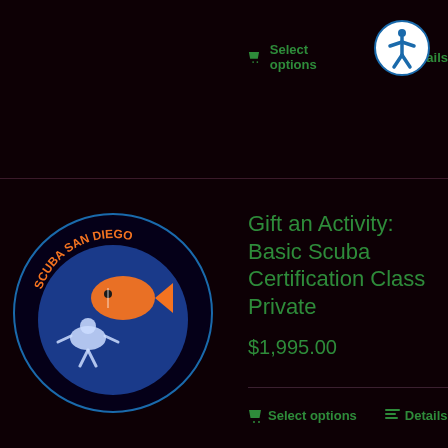Select options  Details
[Figure (logo): Scuba San Diego circular logo with diver and fish on blue globe]
Gift an Activity: Basic Scuba Certification Class Private
$1,995.00
Select options  Details
[Figure (logo): Scuba San Diego circular logo with diver and fish on blue globe]
Gift an Activity: Night Dive La